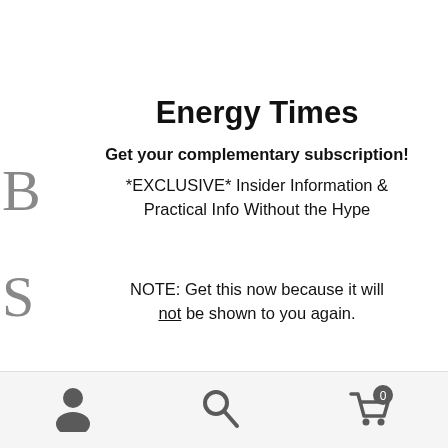Energy Times
Get your complementary subscription!
*EXCLUSIVE* Insider Information & Practical Info Without the Hype
NOTE: Get this now because it will not be shown to you again.
Name  [input field]  Email  [input field]
Yes! Send me the free Energy Times Newsletter!